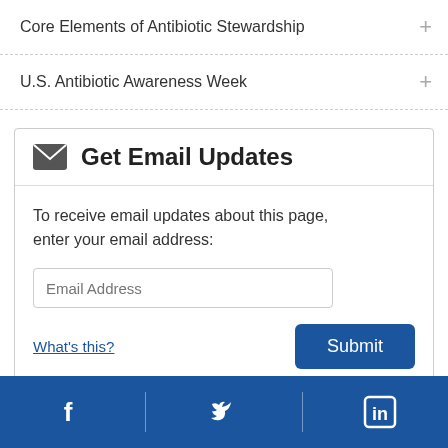Core Elements of Antibiotic Stewardship
U.S. Antibiotic Awareness Week
Get Email Updates
To receive email updates about this page, enter your email address:
What's this?
Facebook | Twitter | LinkedIn